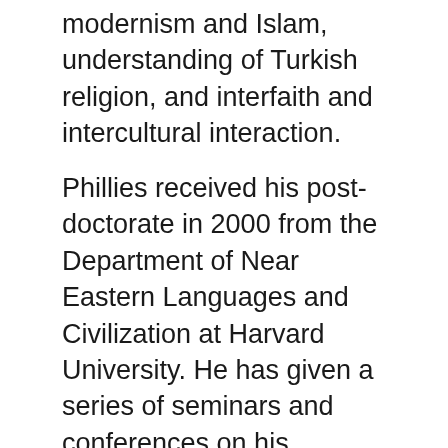modernism and Islam, understanding of Turkish religion, and interfaith and intercultural interaction.
Phillies received his post-doctorate in 2000 from the Department of Near Eastern Languages and Civilization at Harvard University. He has given a series of seminars and conferences on his research.
We use cookies on our website to give you the most relevant experience by remembering your preferences and repeat visits. By clicking "Accept All", you consent to the use of ALL the cookies. However, you may visit "Cookie Settings" to provide a controlled consent.